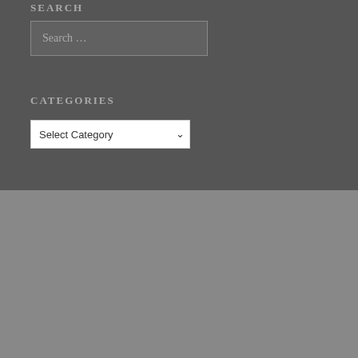SEARCH
[Figure (screenshot): Search input box with placeholder text 'Search ...' on dark grey background]
CATEGORIES
[Figure (screenshot): Select Category dropdown box with chevron arrow]
[Figure (screenshot): Search input box with placeholder text 'Search' on medium grey background]
[Figure (screenshot): Follow Excellent Journey button with WordPress logo icon in cyan/blue color]